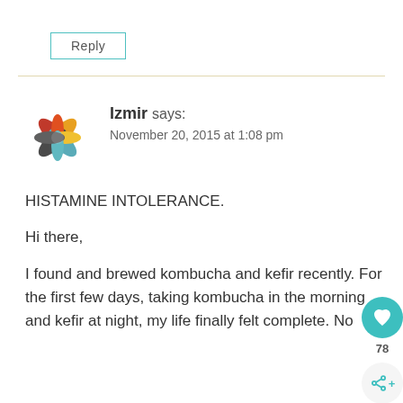Reply
[Figure (other): Colorful star/flower logo avatar for user Izmir]
Izmir says:
November 20, 2015 at 1:08 pm
HISTAMINE INTOLERANCE.
Hi there,
I found and brewed kombucha and kefir recently. For the first few days, taking kombucha in the morning and kefir at night, my life finally felt complete. No